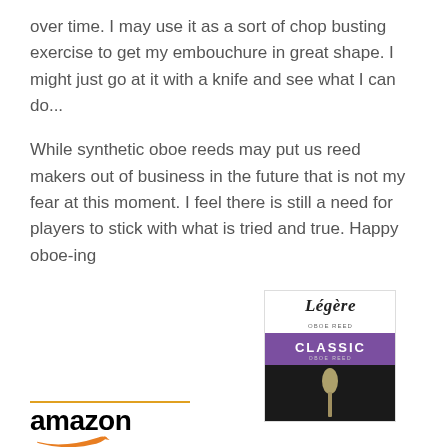over time. I may use it as a sort of chop busting exercise to get my embouchure in great shape. I might just go at it with a knife and see what I can do...
While synthetic oboe reeds may put us reed makers out of business in the future that is not my fear at this moment. I feel there is still a need for players to stick with what is tried and true. Happy oboe-ing
[Figure (logo): Amazon logo with orange underline swoosh]
[Figure (photo): Legere Classic oboe reed product packaging — black and purple box with Legere cursive logo and Classic label]
Legere Oboe Reed...
$131.00